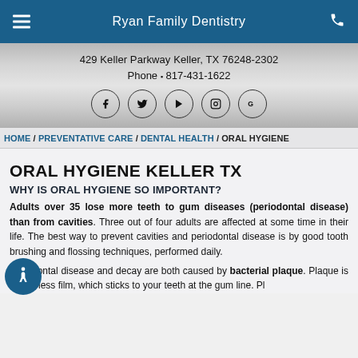Ryan Family Dentistry
429 Keller Parkway Keller, TX 76248-2302
Phone 817-431-1622
[Figure (other): Social media icons: Facebook, Twitter, YouTube, Instagram, Google]
HOME / PREVENTATIVE CARE / DENTAL HEALTH / ORAL HYGIENE
ORAL HYGIENE KELLER TX
WHY IS ORAL HYGIENE SO IMPORTANT?
Adults over 35 lose more teeth to gum diseases (periodontal disease) than from cavities. Three out of four adults are affected at some time in their life. The best way to prevent cavities and periodontal disease is by good tooth brushing and flossing techniques, performed daily.
Periodontal disease and decay are both caused by bacterial plaque. Plaque is a colorless film, which sticks to your teeth at the gum line. Pl...